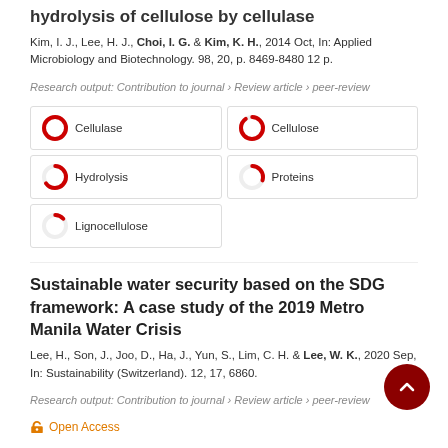hydrolysis of cellulose by cellulase
Kim, I. J., Lee, H. J., Choi, I. G. & Kim, K. H., 2014 Oct, In: Applied Microbiology and Biotechnology. 98, 20, p. 8469-8480 12 p.
Research output: Contribution to journal › Review article › peer-review
[Figure (infographic): Keyword badges with donut-style percentage indicators: Cellulase 100%, Cellulose ~90%, Hydrolysis ~65%, Proteins ~30%, Lignocellulose ~13%]
Sustainable water security based on the SDG framework: A case study of the 2019 Metro Manila Water Crisis
Lee, H., Son, J., Joo, D., Ha, J., Yun, S., Lim, C. H. & Lee, W. K., 2020 Sep, In: Sustainability (Switzerland). 12, 17, 6860.
Research output: Contribution to journal › Review article › peer-review
Open Access